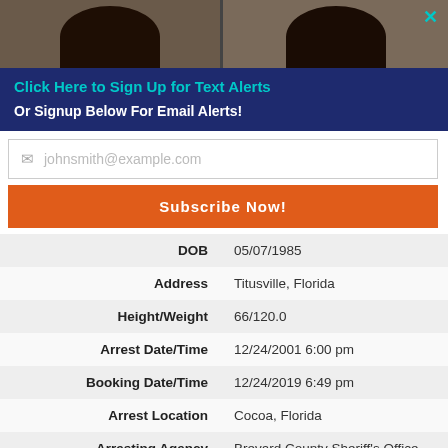[Figure (photo): Two mugshot photos side by side, showing heads/hair of individuals against gray background]
Click Here to Sign Up for Text Alerts
Or Signup Below For Email Alerts!
johnsmith@example.com
Subscribe Now!
| Field | Value |
| --- | --- |
| DOB | 05/07/1985 |
| Address | Titusville, Florida |
| Height/Weight | 66/120.0 |
| Arrest Date/Time | 12/24/2001 6:00 pm |
| Booking Date/Time | 12/24/2019 6:49 pm |
| Arrest Location | Cocoa, Florida |
| Arresting Agency | Brevard County Sheriff's Office |
| Booking Number | 2019-00018054 |
| Prisoner Type | 19 - FAF Awaiting Trial (Female) |